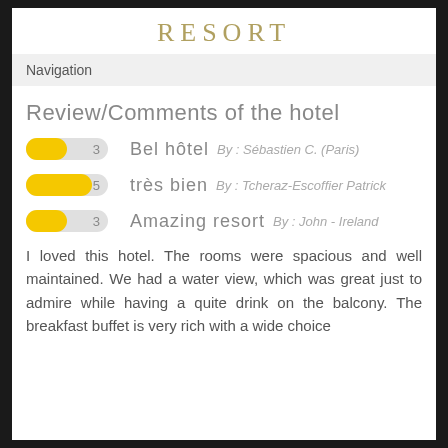RESORT
Navigation
Review/Comments of the hotel
Bel hôtel — By : Sébastien C. (Paris) — Rating: 3
très bien — By : Tcheraz-Escoffier Patrick — Rating: 5
Amazing resort — By : John - Ireland — Rating: 3
I loved this hotel. The rooms were spacious and well maintained. We had a water view, which was great just to admire while having a quite drink on the balcony. The breakfast buffet is very rich with a wide choice